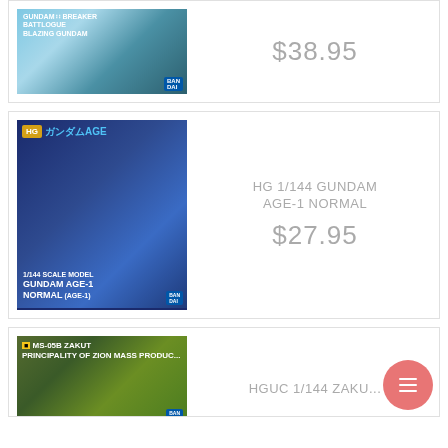[Figure (photo): Product image of Gundam Breaker Battlogue Blazing Gundam model kit box]
$38.95
[Figure (photo): Product image of HG 1/144 Gundam AGE-1 Normal model kit box]
HG 1/144 GUNDAM AGE-1 NORMAL
$27.95
[Figure (photo): Product image of HGUC 1/144 MS-05B Zakut model kit box]
HGUC 1/144 ZAKUT